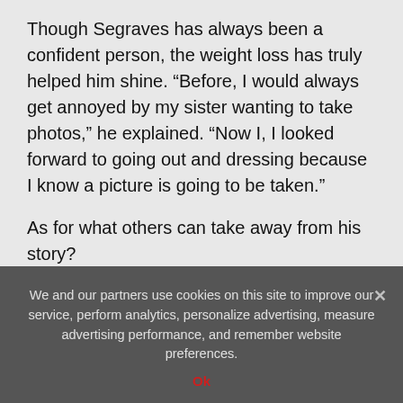Though Segraves has always been a confident person, the weight loss has truly helped him shine. “Before, I would always get annoyed by my sister wanting to take photos,” he explained. “Now I, I looked forward to going out and dressing because I know a picture is going to be taken.”
As for what others can take away from his story?
“You just have to go for it,” he said. “Just know that you’re bettering yourself today. Just keep going.”
Source: Read Full Article
Related posts:
We and our partners use cookies on this site to improve our service, perform analytics, personalize advertising, measure advertising performance, and remember website preferences.
Ok